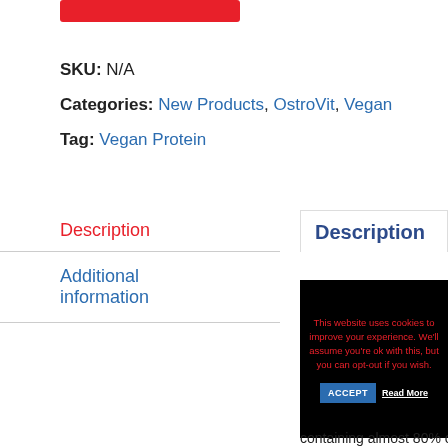[Figure (other): Red button/banner at top of page]
SKU: N/A
Categories: New Products, OstroVit, Vegan
Tag: Vegan Protein
Description
Additional information
Description
This website uses cookies to improve your experience. We'll assume you're ok with this, but you can opt-out if you wish. ACCEPT Read More
containing almost 80% of protein